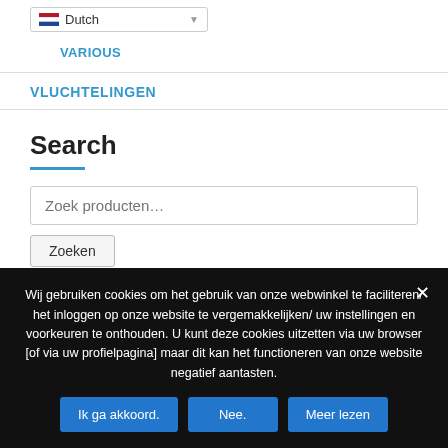[Figure (screenshot): Language dropdown selector showing Dutch with Dutch flag icon]
VARIOUS
VLUCHTELINGEN
Search
Zoek producten…
Zoeken
Wij gebruiken cookies om het gebruik van onze webwinkel te faciliteren/ het inloggen op onze website te vergemakkelijken/ uw instellingen en voorkeuren te onthouden. U kunt deze cookies uitzetten via uw browser [of via uw profielpagina] maar dit kan het functioneren van onze website negatief aantasten.
Ik ga akkoord.
Nee.
Meer lezen